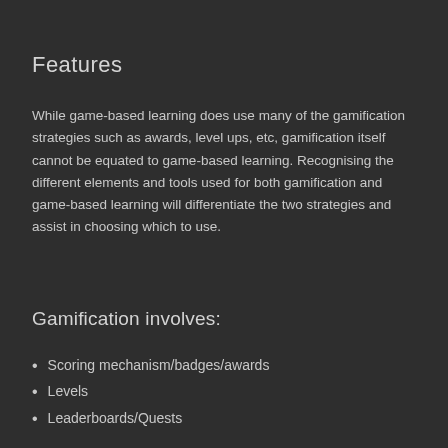Features
While game-based learning does use many of the gamification strategies such as awards, level ups, etc, gamification itself cannot be equated to game-based learning. Recognising the different elements and tools used for both gamification and game-based learning will differentiate the two strategies and assist in choosing which to use.
Gamification involves:
Scoring mechanism/badges/awards
Levels
Leaderboards/Quests